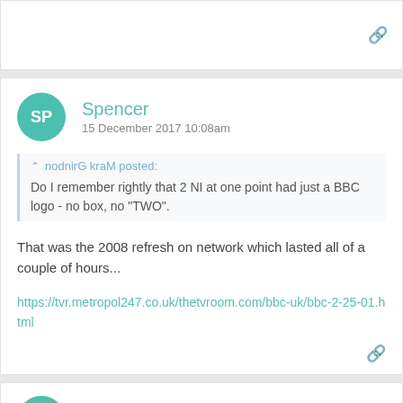Spencer
15 December 2017 10:08am
nodnirG kraM posted:
Do I remember rightly that 2 NI at one point had just a BBC logo - no box, no "TWO".
That was the 2008 refresh on network which lasted all of a couple of hours...
https://tvr.metropol247.co.uk/thetvroom.com/bbc-uk/bbc-2-25-01.html
PFML84